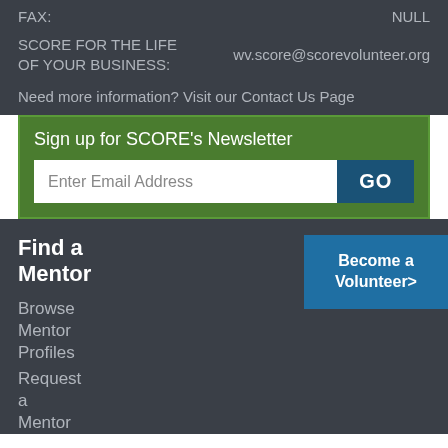FAX:	NULL
SCORE FOR THE LIFE OF YOUR BUSINESS:	wv.score@scorevolunteer.org
Need more information? Visit our Contact Us Page
Sign up for SCORE's Newsletter
Enter Email Address
GO
Find a Mentor
Become a Volunteer>
Browse Mentor Profiles
Request a Mentor